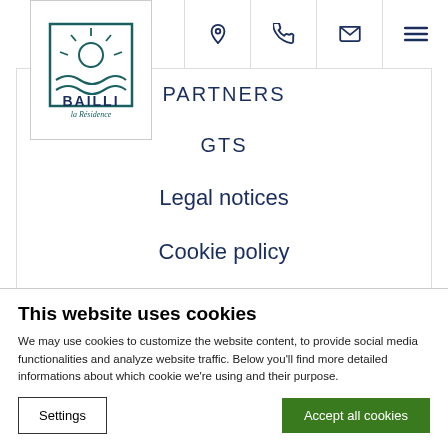[Figure (logo): Bailli la Résidence logo — teal/dark blue square with sun and wave motif, text BAILLI in bold and 'la Résidence' in script below]
PARTNERS
GTS
Legal notices
Cookie policy
FAQ
Sitemap
CREDITS
This website uses cookies
We may use cookies to customize the website content, to provide social media functionalities and analyze website traffic. Below you'll find more detailed informations about which cookie we're using and their purpose.
Settings
Accept all cookies